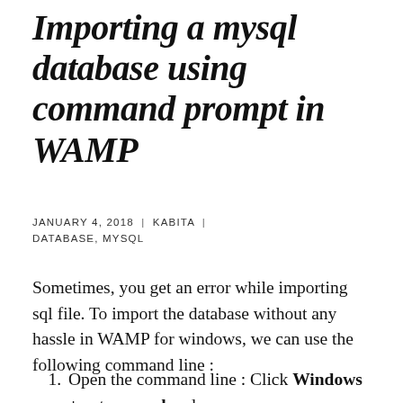Importing a mysql database using command prompt in WAMP
JANUARY 4, 2018 | KABITA | DATABASE, MYSQL
Sometimes, you get an error while importing sql file. To import the database without any hassle in WAMP for windows, we can use the following command line :
Open the command line : Click Windows + r, type cmd and